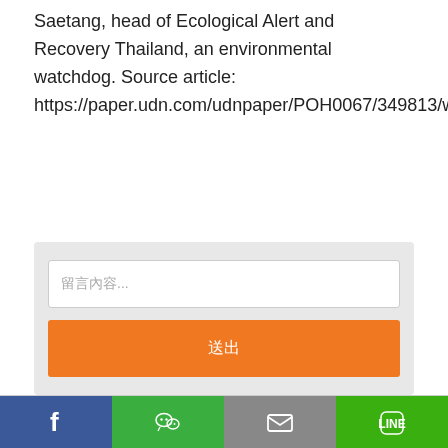Saetang, head of Ecological Alert and Recovery Thailand, an environmental watchdog. Source article: https://paper.udn.com/udnpaper/POH0067/349813/web/
[Figure (other): Comment input box with placeholder text and an orange submit button, inside a light gray container]
[Figure (other): Social share bar with Facebook (blue), WeChat (green), Email (gray), and LINE (green) buttons]